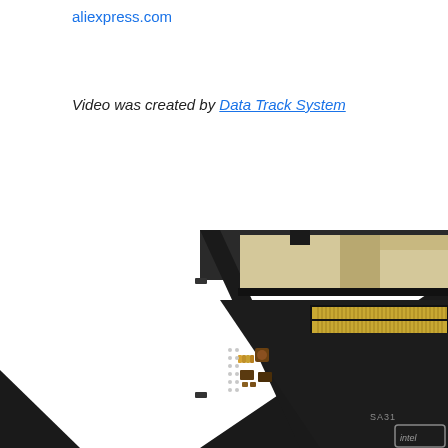aliexpress.com
Video was created by Data Track System
[Figure (photo): Close-up photograph of an SSD or storage adapter circuit board with a black metal enclosure, showing gold connector pins, surface-mount components, and a memory card slot. The board has 'SA31' text visible and an Intel or similar chip logo in the corner.]